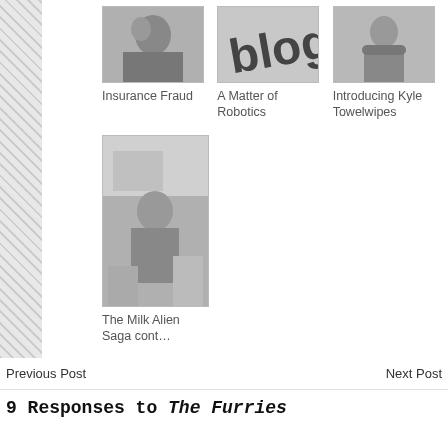[Figure (photo): Thumbnail image of two people, black and white photo]
Insurance Fraud
[Figure (photo): Thumbnail image showing 'blog' text, black and white]
A Matter of Robotics
[Figure (photo): Thumbnail image of a child in a jacket, black and white photo]
Introducing Kyle Towelwipes
[Figure (photo): Larger thumbnail image of a child in a bathroom, black and white photo]
The Milk Alien Saga cont…
Previous Post    Next Post
9 Responses to The Furries